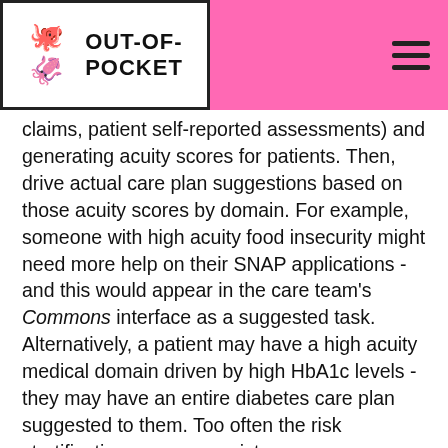OUT-OF-POCKET
claims, patient self-reported assessments) and generating acuity scores for patients. Then, drive actual care plan suggestions based on those acuity scores by domain. For example, someone with high acuity food insecurity might need more help on their SNAP applications - and this would appear in the care team's Commons interface as a suggested task. Alternatively, a patient may have a high acuity medical domain driven by high HbA1c levels - they may have an entire diabetes care plan suggested to them. Too often the risk stratification programs exist separately from day-to-day care and task